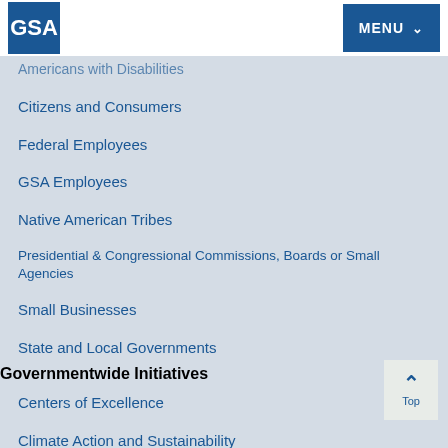GSA | MENU
Americans with Disabilities
Citizens and Consumers
Federal Employees
GSA Employees
Native American Tribes
Presidential & Congressional Commissions, Boards or Small Agencies
Small Businesses
State and Local Governments
Governmentwide Initiatives
Centers of Excellence
Climate Action and Sustainability
Digital Strategy